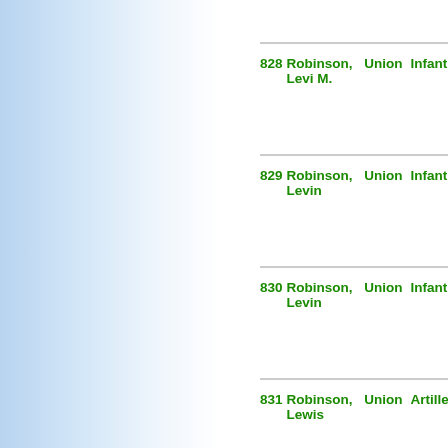| # | Name | Side | Branch | Unit |
| --- | --- | --- | --- | --- |
|  |  |  |  | Colored Infantry |
| 828 | Robinson, Levi M. | Union | Infantry | 115th Regiment United States Colored Infantry |
| 829 | Robinson, Levin | Union | Infantry | 4th Regiment United States Colored Infantry |
| 830 | Robinson, Levin | Union | Infantry | 7th Regiment United States Colored Infantry |
| 831 | Robinson, Lewis | Union | Artillery | 3rd Regiment United States Colored Artillery |